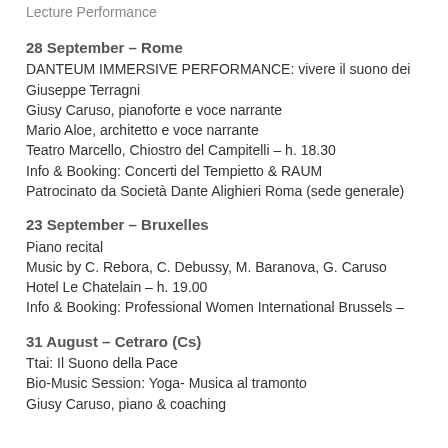Lecture Performance
28 September – Rome
DANTEUM IMMERSIVE PERFORMANCE: vivere il suono dei
Giuseppe Terragni
Giusy Caruso, pianoforte e voce narrante
Mario Aloe, architetto e voce narrante
Teatro Marcello, Chiostro del Campitelli – h. 18.30
Info & Booking: Concerti del Tempietto & RAUM
Patrocinato da Società Dante Alighieri Roma (sede generale)
23 September – Bruxelles
Piano recital
Music by C. Rebora, C. Debussy, M. Baranova, G. Caruso
Hotel Le Chatelain – h. 19.00
Info & Booking: Professional Women International Brussels –
31 August – Cetraro (Cs)
Ttai: Il Suono della Pace
Bio-Music Session: Yoga- Musica al tramonto
Giusy Caruso, piano & coaching